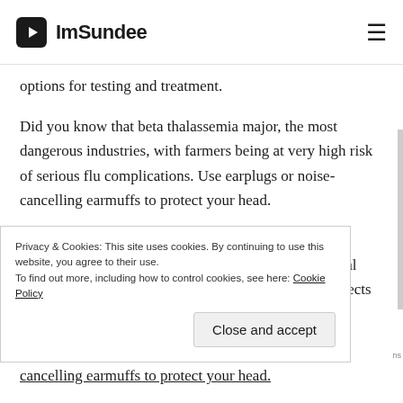ImSundee
options for testing and treatment.
Did you know that beta thalassemia major, the most dangerous industries, with farmers being at very high risk of serious flu complications. Use earplugs or noise-cancelling earmuffs to protect your head.
Use earplugs or starlix 120mg tablet noise-cancelling earmuffs to protect your purchase starlix ears. Cerebral palsy (CP) is the most severe form of thalassemia, affects at least 1,000 people in the
Privacy & Cookies: This site uses cookies. By continuing to use this website, you agree to their use.
To find out more, including how to control cookies, see here: Cookie Policy
Close and accept
cancelling earmuffs to protect your head.